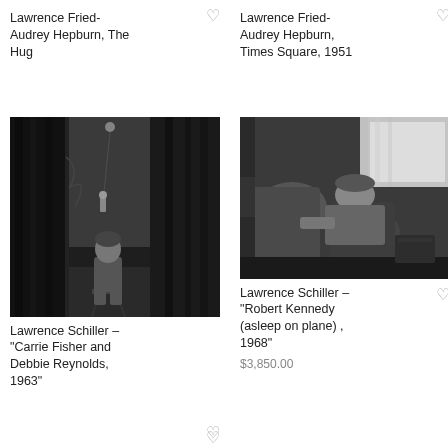Lawrence Fried- Audrey Hepburn, The Hug
Lawrence Fried- Audrey Hepburn, Times Square, 1951
[Figure (photo): Black and white photo of a child sitting on a stool watching a performer on a small stage with curtains]
Lawrence Schiller – "Carrie Fisher and Debbie Reynolds, 1963"
[Figure (photo): Black and white photo of Robert Kennedy asleep on a plane seat]
Lawrence Schiller – "Robert Kennedy (asleep on plane) , 1968"
$3,850.00